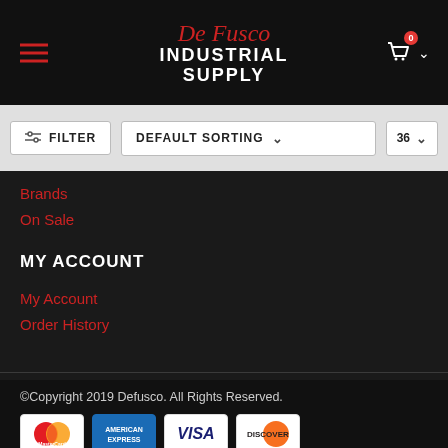DeFusco Industrial Supply
FILTER | DEFAULT SORTING | 36
Brands
On Sale
MY ACCOUNT
My Account
Order History
©Copyright 2019 Defusco. All Rights Reserved.
[Figure (other): Payment method logos: MasterCard, American Express, Visa, Discover]